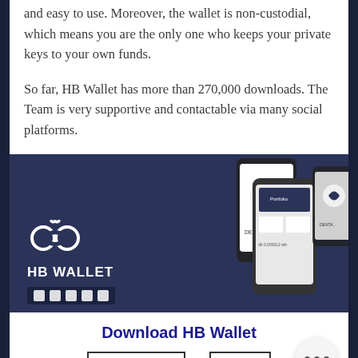and easy to use. Moreover, the wallet is non-custodial, which means you are the only one who keeps your private keys to your own funds.
So far, HB Wallet has more than 270,000 downloads. The Team is very supportive and contactable via many social platforms.
[Figure (screenshot): HB Wallet app promotional image showing dark navy background with HB Wallet logo, name, platform icons bar, and phone mockups displaying the Dentacoin logo]
Download HB Wallet
ANDROID
IOS